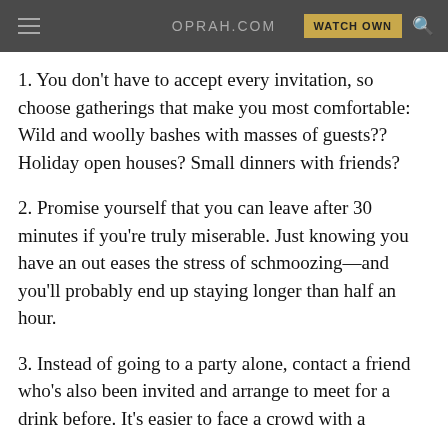OPRAH.COM | WATCH OWN
1. You don't have to accept every invitation, so choose gatherings that make you most comfortable: Wild and woolly bashes with masses of guests?? Holiday open houses? Small dinners with friends?
2. Promise yourself that you can leave after 30 minutes if you're truly miserable. Just knowing you have an out eases the stress of schmoozing—and you'll probably end up staying longer than half an hour.
3. Instead of going to a party alone, contact a friend who's also been invited and arrange to meet for a drink before. It's easier to face a crowd with a